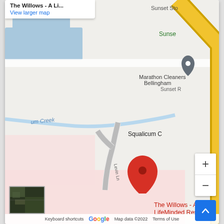[Figure (map): Google Maps screenshot showing The Willows - A LifeMinded Residence in Bellingham, WA. Red pin marks the location. Nearby landmarks include Marathon Cleaners Bellingham, St. Francis of Bellingham, Bellingham OB/GYN, Family Care Network, eHealth Medicine, Galbraith Pediatrics. Roads include Levin Ln. Interstate 5 visible on right. Squalicum Creek labeled. Map data ©2022. Includes zoom controls and Google logo.]